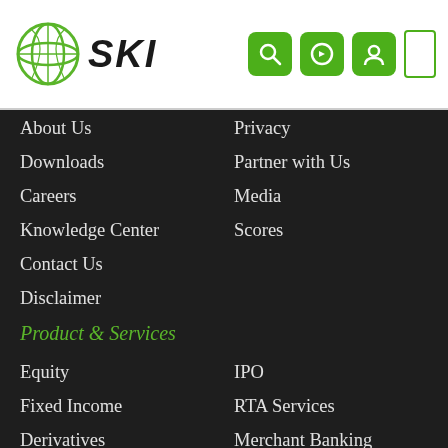[Figure (logo): SKI logo with globe icon and italic bold text SKI]
About Us
Downloads
Careers
Knowledge Center
Contact Us
Disclaimer
Privacy
Partner with Us
Media
Scores
Product & Services
Equity
Fixed Income
Derivatives
Commodities
Mutual Fund
Insurance
IPO
RTA Services
Merchant Banking
Financial Advisory
Business Insurance
Investor Arena